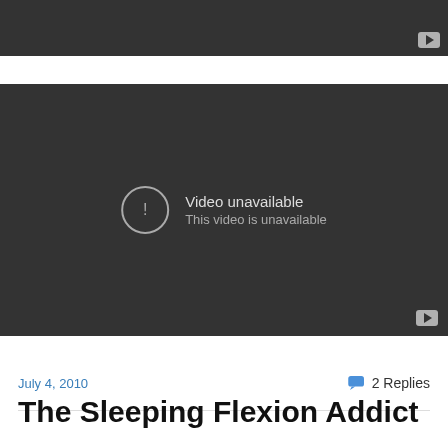[Figure (screenshot): Top portion of a dark YouTube video player (cropped), showing a dark gray background with a small YouTube play button in the bottom-right corner.]
[Figure (screenshot): YouTube embedded video player showing 'Video unavailable / This video is unavailable' message with a warning icon on a dark gray background. A small YouTube play button icon is visible in the bottom-right corner.]
July 4, 2010
2 Replies
The Sleeping Flexion Addict